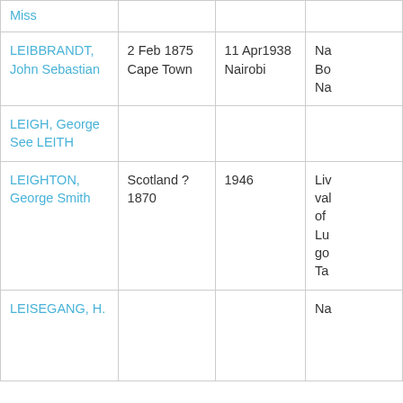| Name | Birth | Death | Notes |
| --- | --- | --- | --- |
| Miss |  |  |  |
| LEIBBRANDT, John Sebastian | 2 Feb 1875 Cape Town | 11 Apr1938 Nairobi | Na Bo Na |
| LEIGH, George See LEITH |  |  |  |
| LEIGHTON, George Smith | Scotland ?1870 | 1946 | Liv val of Lu go Ta |
| LEISEGANG, H. |  |  | Na |